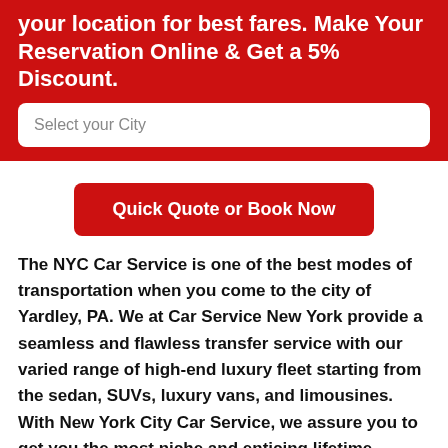your location for best fares. Make Your Reservation Online & Get a 5% Discount.
[Figure (other): Search input box with placeholder text 'Select your City']
[Figure (other): Red rounded button with text 'Quick Quote or Book Now']
The NYC Car Service is one of the best modes of transportation when you come to the city of Yardley, PA. We at Car Service New York provide a seamless and flawless transfer service with our varied range of high-end luxury fleet starting from the sedan, SUVs, luxury vans, and limousines. With New York City Car Service, we assure you to get you the most niche and enticing lifetime experience throughout